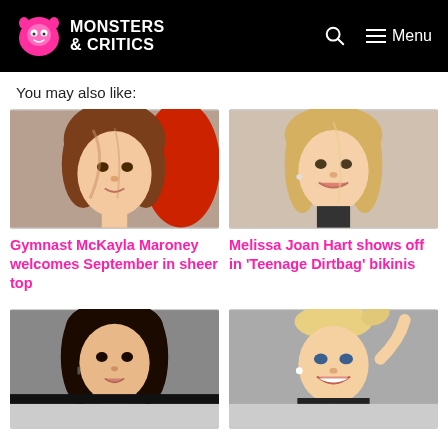Monsters & Critics | Menu
You may also like:
[Figure (photo): Photo of Gymnast McKayla Maroney, young woman with brown hair]
Gymnast McKayla Maroney welcomes September in sheer top
[Figure (photo): Photo of Melissa Joan Hart, smiling blonde woman]
Melissa Joan Hart shows off in 'Teenage Dirtbag' bikinis
[Figure (photo): Photo of dark-haired woman smiling]
[Figure (photo): Photo of blonde woman with high ponytail smiling]